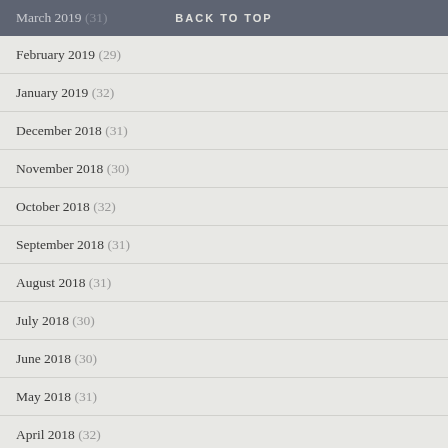March 2019 (31) — BACK TO TOP
February 2019 (29)
January 2019 (32)
December 2018 (31)
November 2018 (30)
October 2018 (32)
September 2018 (31)
August 2018 (31)
July 2018 (30)
June 2018 (30)
May 2018 (31)
April 2018 (32)
March 2018 (33)